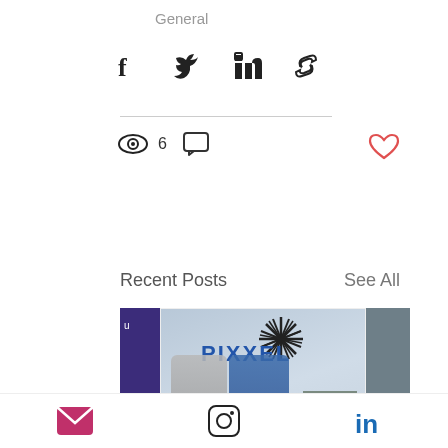General
[Figure (screenshot): Social share icons: Facebook, Twitter, LinkedIn, Link]
[Figure (screenshot): View count (eye icon, 6), comment icon, and heart/like icon]
Recent Posts
See All
[Figure (photo): Photo of two men standing in front of a PIXXEL logo on a wall, with a starburst-like logo above the text. Partial images of other posts visible on sides.]
Spacetech startup Pixxel ...raised $25 million...
Email icon, Instagram icon, LinkedIn icon